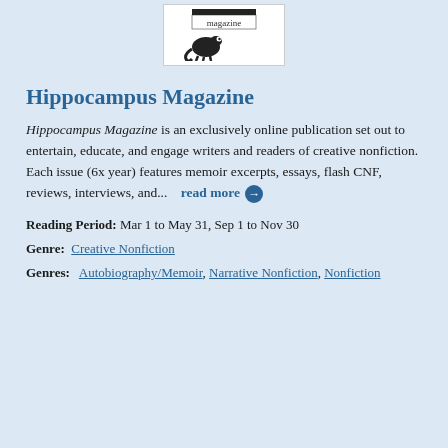[Figure (logo): Hippocampus Magazine logo with chameleon silhouette and text 'magazine']
Hippocampus Magazine
Hippocampus Magazine is an exclusively online publication set out to entertain, educate, and engage writers and readers of creative nonfiction. Each issue (6x year) features memoir excerpts, essays, flash CNF, reviews, interviews, and...   read more →
Reading Period:  Mar 1 to May 31, Sep 1 to Nov 30
Genre:   Creative Nonfiction
Genres:   Autobiography/Memoir, Narrative Nonfiction, Nonfiction